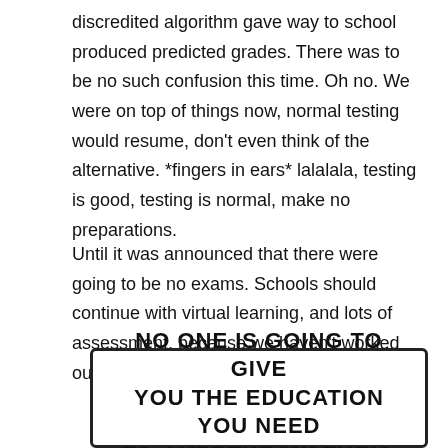discredited algorithm gave way to school produced predicted grades. There was to be no such confusion this time. Oh no. We were on top of things now, normal testing would resume, don't even think of the alternative. *fingers in ears* lalalala, testing is good, testing is normal, make no preparations.
Until it was announced that there were going to be no exams. Schools should continue with virtual learning, and lots of assessment, because we haven't worked out the alternative.
[Figure (illustration): Comic speech bubble / panel with bold uppercase text reading: NO ONE IS GOING TO GIVE YOU THE EDUCATION YOU NEED TO OVERTHROW THEM.]